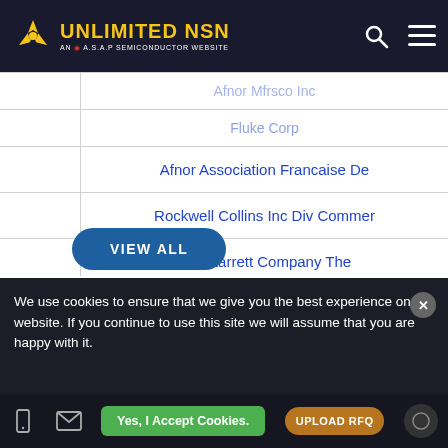Unlimited NSN — An A.S.A.P Semiconductor Website
| Afnor Association Francaise De |
| Rockwell Collins Inc Div Commer |
| L S Starrett Company The |
| Clark Equipment Company |
| Price Engineering Company Inc |
VIEW ALL
We use cookies to ensure that we give you the best experience on our website. If you continue to use this site we will assume that you are happy with it.
Yes, I Accept Cookies.